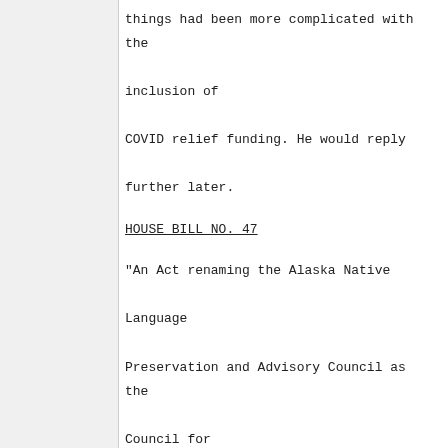things had been more complicated with the inclusion of COVID relief funding. He would reply further later.
HOUSE BILL NO. 47
"An Act renaming the Alaska Native Language Preservation and Advisory Council as the Council for Alaska Native Languages; and relating to the Council for Alaska Native Languages."
1:38:33 PM
Co-Chair Merrick indicated that the